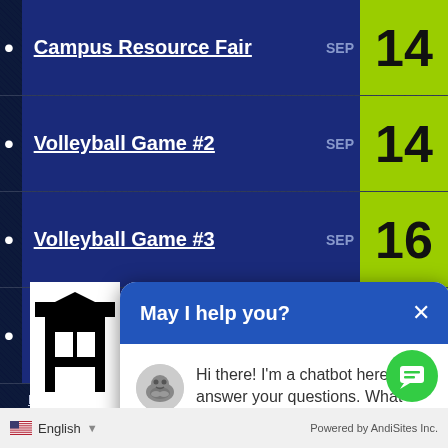Campus Resource Fair SEP 14
Volleyball Game #2 SEP 14
Volleyball Game #3 SEP 16
Volleyball Game #4 SEP 20
Full Events Calendar
[Figure (screenshot): Chatbot popup with header 'May I help you?' and message 'Hi there! I'm a chatbot here to answer your questions. What would you like to know?' with bulldog avatar]
English | Powered by AndiSites Inc.